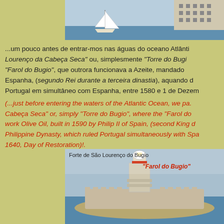[Figure (photo): Sailboat on water with buildings and waterfront in background, cropped at top of page]
...um pouco antes de entrar-mos nas águas do oceano Atlânti... Lourenço da Cabeça Seca" ou, simplesmente "Torre do Bugi... "Farol do Bugio", que outrora funcionava a Azeite, mandado ... Espanha, (segundo Rei durante a terceira dinastia), aquando d... Portugal em simultâneo com Espanha, entre 1580 e 1 de Dezem...
(...just before entering the waters of the Atlantic Ocean, we pa... Cabeça Seca" or, simply "Torre do Bugio", where the "Farol do... work Olive Oil, built in 1590 by Philip II of Spain, (second King d... Philippine Dynasty, which ruled Portugal simultaneously with Spa... 1640, Day of Restoration)!.
[Figure (photo): Photo of Forte de São Lourenço do Bugio with lighthouse (Farol do Bugio) on a rocky island surrounded by sea. Caption text: 'Forte de São Lourenço do Bugio' in black and '"Farol do Bugio"' in red italic.]
Forte de São Lourenço do Bugio  "Farol do Bugio"